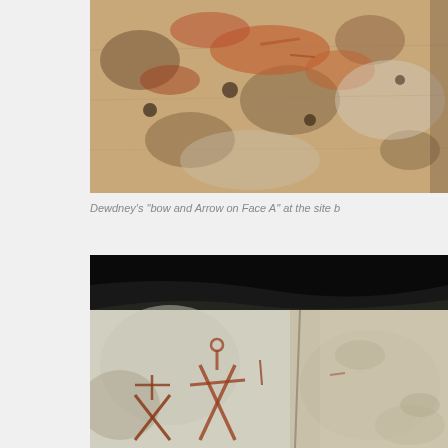[Figure (photo): Close-up photograph of a rock face with reddish-orange lichen and natural markings, showing what Dewdney identified as a bow and arrow on Face A]
Dewdney's "bow and Arrow on Face A" at the site b
[Figure (photo): Photograph of a rock face showing pictographs/rock art painted in red/orange on light-colored stone, with dark rock overhanging at top]